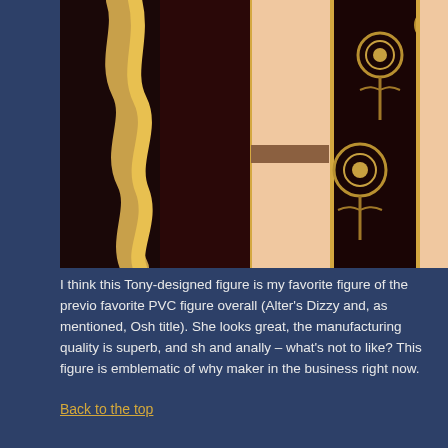[Figure (photo): Close-up photo of an anime figure wearing a black dress with gold rose decorations and golden hair]
I think this Tony-designed figure is my favorite figure of the previous favorite PVC figure overall (Alter's Dizzy and, as mentioned, Osh title). She looks great, the manufacturing quality is superb, and sh and anally – what's not to like? This figure is emblematic of why maker in the business right now.
Back to the top